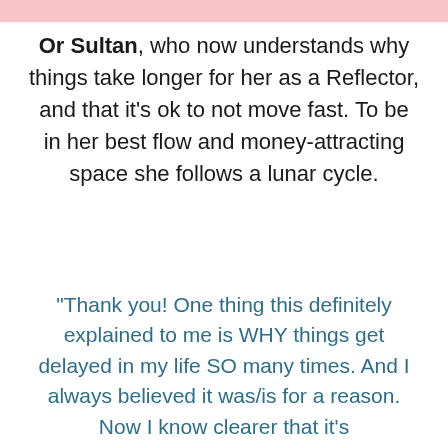[Figure (other): Pink decorative bar at top of page]
Or Sultan, who now understands why things take longer for her as a Reflector, and that it's ok to not move fast. To be in her best flow and money-attracting space she follows a lunar cycle.
"Thank you! One thing this definitely explained to me is WHY things get delayed in my life SO many times. And I always believed it was/is for a reason. Now I know clearer that it's